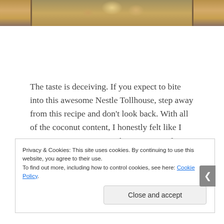[Figure (photo): Top portion of a food photo showing what appears to be cookie dough or baked goods on a wooden surface, cropped at the top edge of the page.]
The taste is deceiving. If you expect to bite into this awesome Nestle Tollhouse, step away from this recipe and don't look back. With all of the coconut content, I honestly felt like I was eating a macaroon. They aren't too dry, but definitely not the butter and sugar rich cookie I'm used to.
Are they edible? Sure! They got the husband stamp of
Privacy & Cookies: This site uses cookies. By continuing to use this website, you agree to their use.
To find out more, including how to control cookies, see here: Cookie Policy
Close and accept